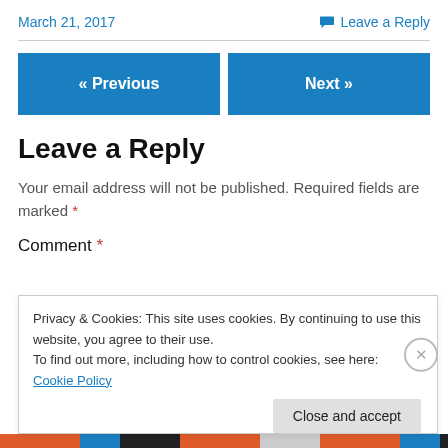March 21, 2017
Leave a Reply
« Previous
Next »
Leave a Reply
Your email address will not be published. Required fields are marked *
Comment *
Privacy & Cookies: This site uses cookies. By continuing to use this website, you agree to their use.
To find out more, including how to control cookies, see here: Cookie Policy
Close and accept